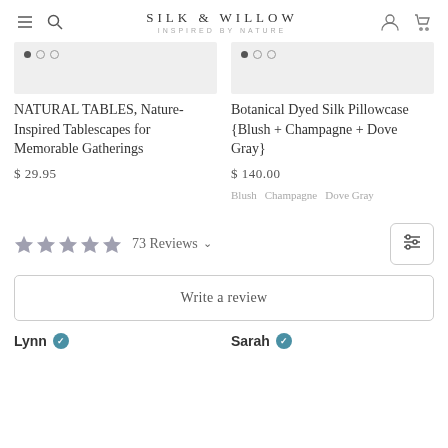SILK & WILLOW INSPIRED BY NATURE
[Figure (screenshot): Product image placeholder with dot navigation for NATURAL TABLES book]
NATURAL TABLES, Nature-Inspired Tablescapes for Memorable Gatherings
$ 29.95
[Figure (screenshot): Product image placeholder with dot navigation for Botanical Dyed Silk Pillowcase]
Botanical Dyed Silk Pillowcase {Blush + Champagne + Dove Gray}
$ 140.00
Blush  Champagne  Dove Gray
73 Reviews
Write a review
Lynn
Sarah